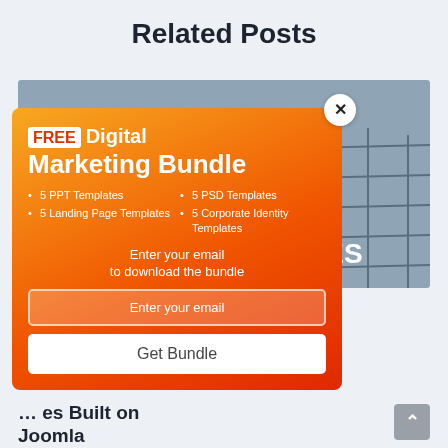Related Posts
[Figure (screenshot): A popup modal over a webpage showing a building glass facade photo. The popup has an orange-red gradient background with a FREE Digital Marketing Bundle offer, listing 5 PPT Templates, 5 PSD Templates, 5 Landing Page Templates, 5 Corporate Identity Templates, an email input field, and a Get Bundle button. A close (X) button appears at top right of the popup.]
es Built on Joomla